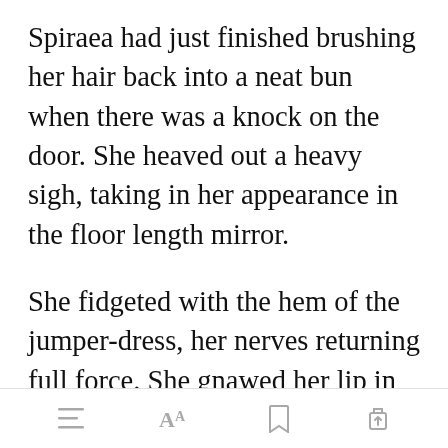Spiraea had just finished brushing her hair back into a neat bun when there was a knock on the door. She heaved out a heavy sigh, taking in her appearance in the floor length mirror.
She fidgeted with the hem of the jumper-dress, her nerves returning full force. She gnawed her lip in discomfort, th[Open in app]fore she could
[menu icon] [font size icon] [bookmark icon] [share icon]